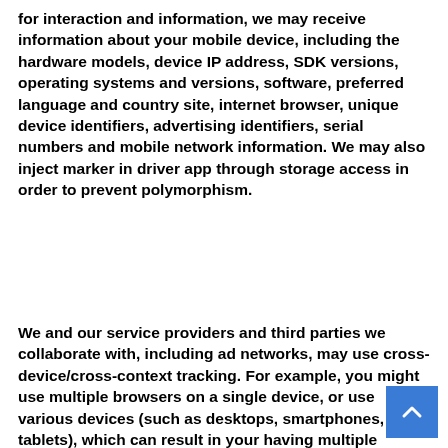for interaction and information, we may receive information about your mobile device, including the hardware models, device IP address, SDK versions, operating systems and versions, software, preferred language and country site, internet browser, unique device identifiers, advertising identifiers, serial numbers and mobile network information. We may also inject marker in driver app through storage access in order to prevent polymorphism.
We and our service providers and third parties we collaborate with, including ad networks, may use cross-device/cross-context tracking. For example, you might use multiple browsers on a single device, or use various devices (such as desktops, smartphones, and tablets), which can result in your having multiple accounts or profiles across these various contexts and devices. Cross-